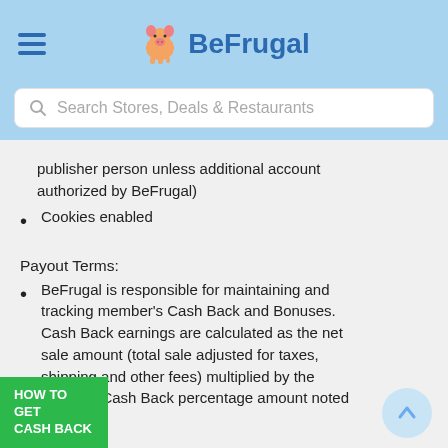BeFrugal
Search Stores, Deals & Restaurants
publisher person unless additional account authorized by BeFrugal)
Cookies enabled
Payout Terms:
BeFrugal is responsible for maintaining and tracking member's Cash Back and Bonuses. Cash Back earnings are calculated as the net sale amount (total sale adjusted for taxes, shipping and other fees) multiplied by the retailer's Cash Back percentage amount noted [on] BeFrugal.